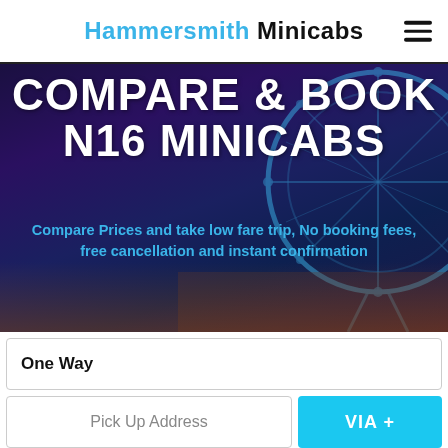Hammersmith Minicabs
COMPARE & BOOK N16 MINICABS
Compare Prices and take low fare trip, No booking fees, free cancellation and instant confirmation
One Way
Pick Up Address
VIA +
Drop Off Address
04-09-2022 21:38